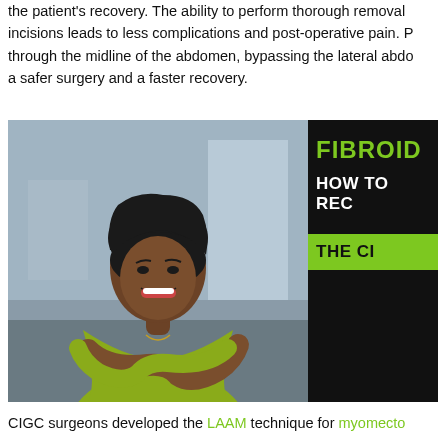the patient's recovery. The ability to perform thorough removal through small incisions leads to less complications and post-operative pain. Passing through the midline of the abdomen, bypassing the lateral abdominal muscles leads to a safer surgery and a faster recovery.
[Figure (photo): A smiling Black woman in a yellow-green sleeveless top with arms crossed, with an overlaid infographic header reading 'FIBROID / HOW TO REC[OVER]' and a green box reading 'THE CI[GC]']
CIGC surgeons developed the LAAM technique for myomecto...